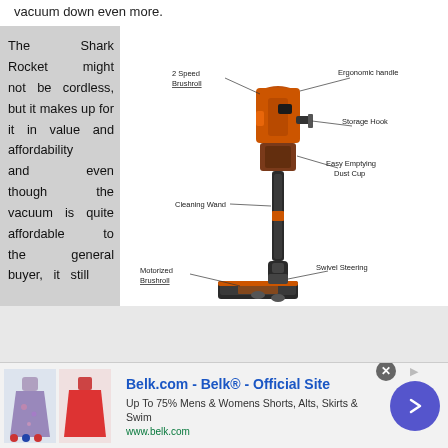vacuum down even more.
The Shark Rocket might not be cordless, but it makes up for it in value and affordability and even though the vacuum is quite affordable to the general buyer, it still
[Figure (illustration): Shark Rocket vacuum cleaner diagram with labeled parts: 2 Speed Brushroll, Ergonomic handle, Storage Hook, Easy Emptying Dust Cup, Cleaning Wand, Motorized Brushroll, Swivel Steering]
Belk.com - Belk® - Official Site
Up To 75% Mens & Womens Shorts, Alts, Skirts & Swim
www.belk.com